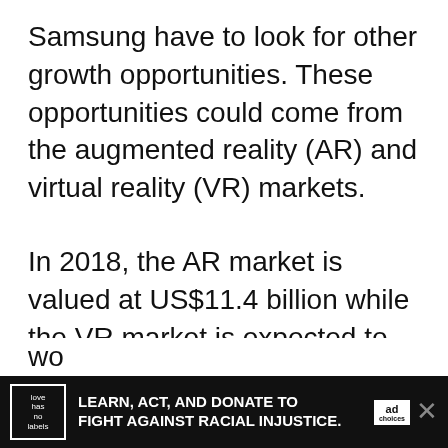Samsung have to look for other growth opportunities. These opportunities could come from the augmented reality (AR) and virtual reality (VR) markets.
In 2018, the AR market is valued at US$11.4 billion while the VR market is expected to generate US$7.9 billion, making the combined market worth US$19.3 billion.[31] Both markets are in their infancy and their real growth is expected in the near future. According to the research done by Research and Markets[31] the AR market could be wo... [cut off] ...wing on
[Figure (other): Advertisement banner: black background with logo box reading 'love has no labels', bold white text 'LEARN, ACT, AND DONATE TO FIGHT AGAINST RACIAL INJUSTICE.', 'ad' tag, and close X button.]